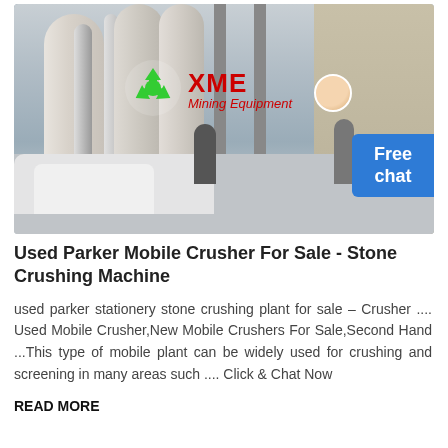[Figure (photo): Factory interior with large cylindrical milling/grinding machines, workers in the background, white powder bags on the floor. XME Mining Equipment logo overlaid on the image. A 'Free chat' button appears on the right side of the image.]
Used Parker Mobile Crusher For Sale - Stone Crushing Machine
used parker stationery stone crushing plant for sale – Crusher .... Used Mobile Crusher,New Mobile Crushers For Sale,Second Hand ...This type of mobile plant can be widely used for crushing and screening in many areas such .... Click & Chat Now
READ MORE